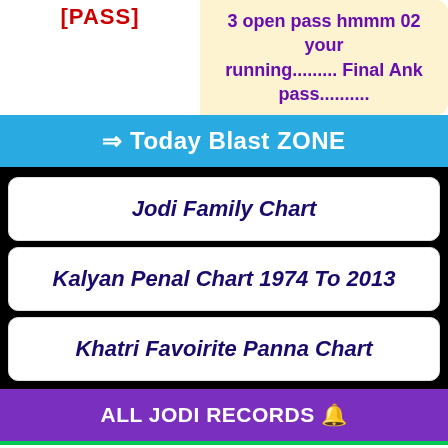[PASS]
3 open pass hmmm 02 your running......... Final Ank pass..........
⇒ Today Blast ZONE
Jodi Family Chart
Kalyan Penal Chart 1974 To 2013
Khatri Favoirite Panna Chart
ALL JODI RECORDS 🔔
SRIDEVI Chart
JAYA DAY Chart
TIME BAZAR Chart